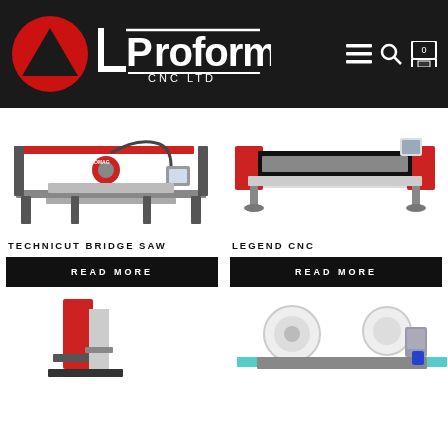[Figure (logo): Proform CNC LTD logo with red circle, mountain silhouette, and white text on dark background header]
[Figure (photo): Technicut Bridge Saw CNC machine - red and silver industrial bridge saw with gantry structure]
TECHNICUT BRIDGE SAW
READ MORE
[Figure (photo): Legend CNC machine - industrial CNC router with horizontal beam and red end caps]
LEGEND CNC
READ MORE
[Figure (photo): Partial view of two additional CNC machines at bottom of page]
[Figure (photo): Partial view of second additional CNC machine at bottom right of page]